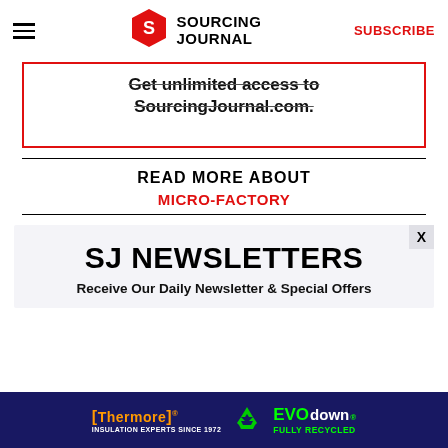Sourcing Journal | SUBSCRIBE
Get unlimited access to SourcingJournal.com.
READ MORE ABOUT
MICRO-FACTORY
SJ NEWSLETTERS
Receive Our Daily Newsletter & Special Offers
[Figure (screenshot): Thermore EVO down FULLY RECYCLED advertisement banner with orange and green text on dark blue background]